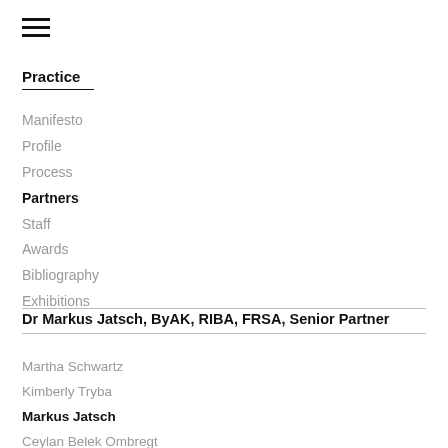[Figure (other): Hamburger menu icon (three horizontal bars)]
Practice
Manifesto
Profile
Process
Partners
Staff
Awards
Bibliography
Exhibitions
Dr Markus Jatsch, ByAK, RIBA, FRSA, Senior Partner
Martha Schwartz
Kimberly Tryba
Markus Jatsch
Ceylan Belek Ombregt
Yiwen Zhang